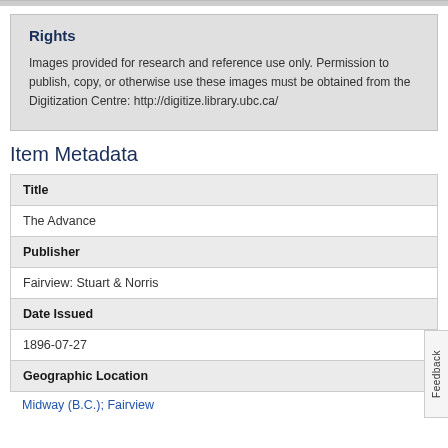Rights
Images provided for research and reference use only. Permission to publish, copy, or otherwise use these images must be obtained from the Digitization Centre: http://digitize.library.ubc.ca/
Item Metadata
| Title |
| The Advance |
| Publisher |
| Fairview: Stuart & Norris |
| Date Issued |
| 1896-07-27 |
| Geographic Location |
Midway (B.C.); Fairview